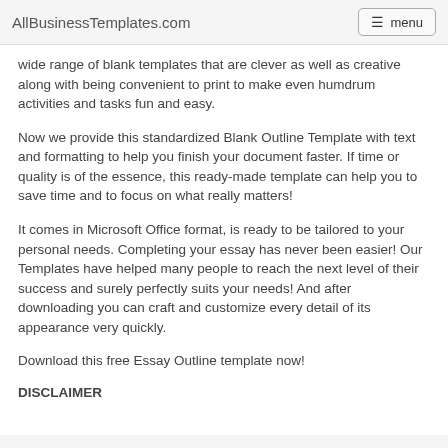AllBusinessTemplates.com  menu
wide range of blank templates that are clever as well as creative along with being convenient to print to make even humdrum activities and tasks fun and easy.
Now we provide this standardized Blank Outline Template with text and formatting to help you finish your document faster. If time or quality is of the essence, this ready-made template can help you to save time and to focus on what really matters!
It comes in Microsoft Office format, is ready to be tailored to your personal needs. Completing your essay has never been easier! Our Templates have helped many people to reach the next level of their success and surely perfectly suits your needs! And after downloading you can craft and customize every detail of its appearance very quickly.
Download this free Essay Outline template now!
DISCLAIMER